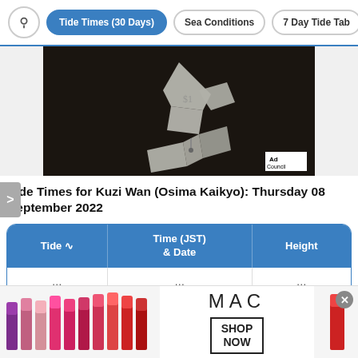Tide Times (30 Days) | Sea Conditions | 7 Day Tide Tab
[Figure (photo): Black and white photo of origami figures made from dollar bills, with Ad Council logo in bottom right corner]
Tide Times for Kuzi Wan (Osima Kaikyo): Thursday 08 September 2022
| Tide | Time (JST) & Date | Height |
| --- | --- | --- |
| … | … | … |
[Figure (photo): MAC Cosmetics advertisement showing colored lipsticks on the left and right with MAC logo and SHOP NOW button in center]